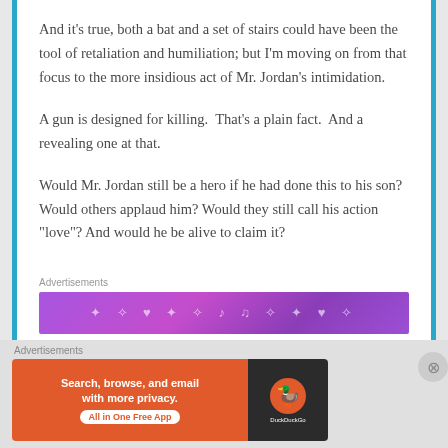And it’s true, both a bat and a set of stairs could have been the tool of retaliation and humiliation; but I’m moving on from that focus to the more insidious act of Mr. Jordan’s intimidation.
A gun is designed for killing.  That’s a plain fact.  And a revealing one at that.
Would Mr. Jordan still be a hero if he had done this to his son? Would others applaud him? Would they still call his action “love”? And would he be alive to claim it?
Advertisements
[Figure (infographic): Purple gradient advertisement banner with decorative sparkle and music note icons]
Advertisements
[Figure (infographic): DuckDuckGo advertisement: orange background with text 'Search, browse, and email with more privacy. All in One Free App' and DuckDuckGo logo on dark background]